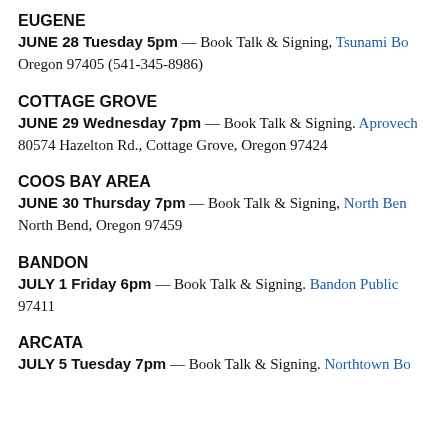EUGENE
JUNE 28 Tuesday 5pm — Book Talk & Signing, Tsunami Bo
Oregon 97405 (541-345-8986)
COTTAGE GROVE
JUNE 29 Wednesday 7pm — Book Talk & Signing. Aprovech
80574 Hazelton Rd., Cottage Grove, Oregon 97424
COOS BAY AREA
JUNE 30 Thursday 7pm — Book Talk & Signing, North Ben
North Bend, Oregon 97459
BANDON
JULY 1 Friday 6pm — Book Talk & Signing. Bandon Public
97411
ARCATA
JULY 5 Tuesday 7pm — Book Talk & Signing. Northtown Bo